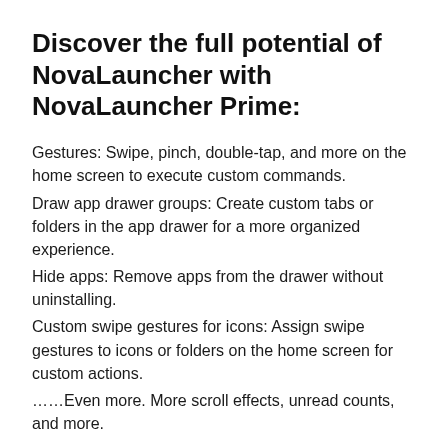Discover the full potential of NovaLauncher with NovaLauncher Prime:
Gestures: Swipe, pinch, double-tap, and more on the home screen to execute custom commands.
Draw app drawer groups: Create custom tabs or folders in the app drawer for a more organized experience.
Hide apps: Remove apps from the drawer without uninstalling.
Custom swipe gestures for icons: Assign swipe gestures to icons or folders on the home screen for custom actions.
……Even more. More scroll effects, unread counts, and more.